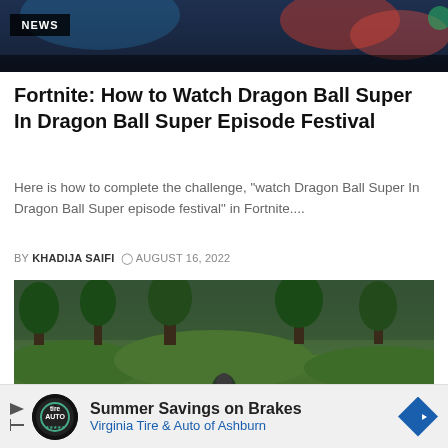[Figure (screenshot): Top banner image showing a colorful game scene with a NEWS badge overlay in the bottom-left corner]
Fortnite: How to Watch Dragon Ball Super In Dragon Ball Super Episode Festival
Here is how to complete the challenge, "watch Dragon Ball Super In Dragon Ball Super episode festival" in Fortnite....
BY KHADIJA SAIFI  ⊙ AUGUST 16, 2022
[Figure (screenshot): A Fortnite game screenshot showing a character running across a green landscape with trees and terrain]
[Figure (infographic): Advertisement banner: Summer Savings on Brakes – Virginia Tire & Auto of Ashburn, with Tire Auto logo and blue diamond arrow icon]